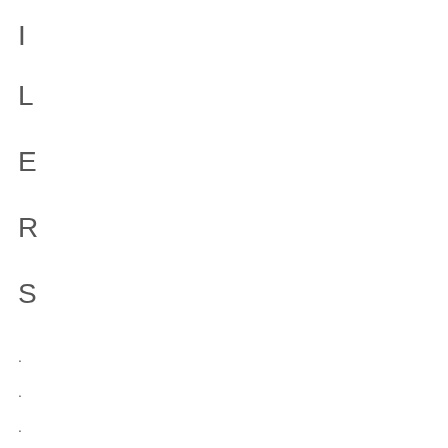I
L
E
R
S
.
.
.
.
.
.
.
.
.
.
.